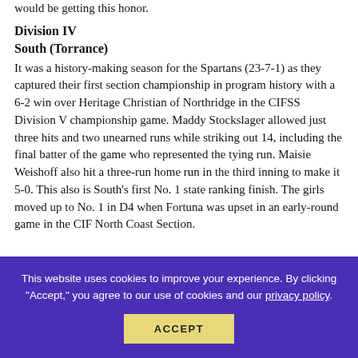would be getting this honor.
Division IV
South (Torrance)
It was a history-making season for the Spartans (23-7-1) as they captured their first section championship in program history with a 6-2 win over Heritage Christian of Northridge in the CIFSS Division V championship game. Maddy Stockslager allowed just three hits and two unearned runs while striking out 14, including the final batter of the game who represented the tying run. Maisie Weishoff also hit a three-run home run in the third inning to make it 5-0. This also is South's first No. 1 state ranking finish. The girls moved up to No. 1 in D4 when Fortuna was upset in an early-round game in the CIF North Coast Section.
This website uses cookies to improve your experience. By clicking "Accept," you agree to our use of cookies and our privacy policy.